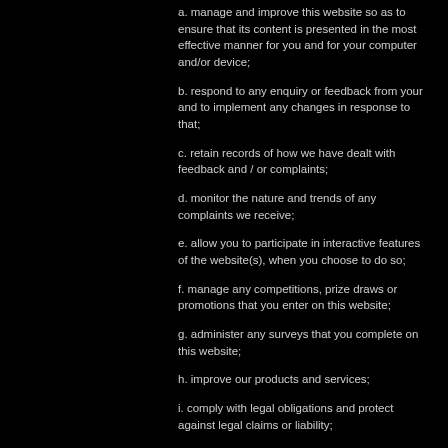a. manage and improve this website so as to ensure that its content is presented in the most effective manner for you and for your computer and/or device;
b. respond to any enquiry or feedback from your and to implement any changes in response to that;
c. retain records of how we have dealt with feedback and / or complaints;
d. monitor the nature and trends of any complaints we receive;
e. allow you to participate in interactive features of the website(s), when you choose to do so;
f. manage any competitions, prize draws or promotions that you enter on this website;
g. administer any surveys that you complete on this website;
h. improve our products and services;
i. comply with legal obligations and protect against legal claims or liability;
j. send you marketing communications about William Grant & Sons through channels such as e-mail and SMS about our products and services